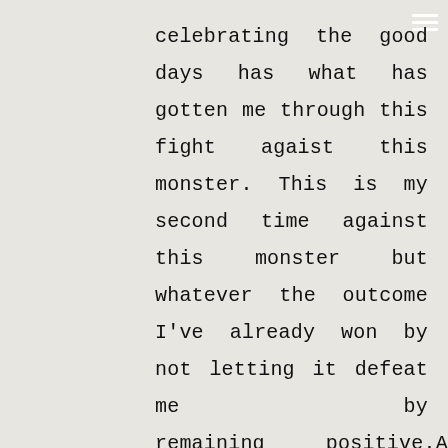celebrating the good days has what has gotten me through this fight agaist this monster. This is my second time against this monster but whatever the outcome I've already won by not letting it defeat me by remaining positive.Also by helping others be able to deal with this journey.